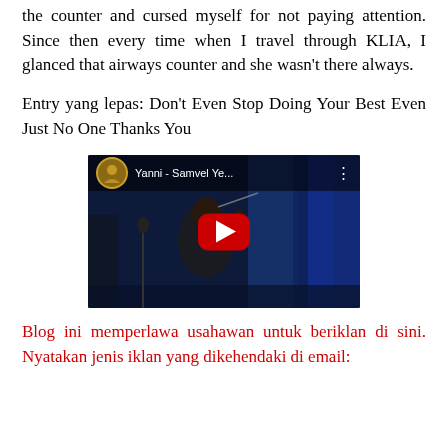the counter and cursed myself for not paying attention. Since then every time when I travel through KLIA, I glanced that airways counter and she wasn't there always.
Entry yang lepas: Don't Even Stop Doing Your Best Even Just No One Thanks You
[Figure (screenshot): Embedded YouTube video thumbnail showing a violinist performing on stage. Video title shown: 'Yanni - Samvel Ye...' with a YouTube play button overlay.]
Blog ini memperlawa usahawan untuk beriklan di sini. Nyatakan jenis iklan yang dikehendaki di email: